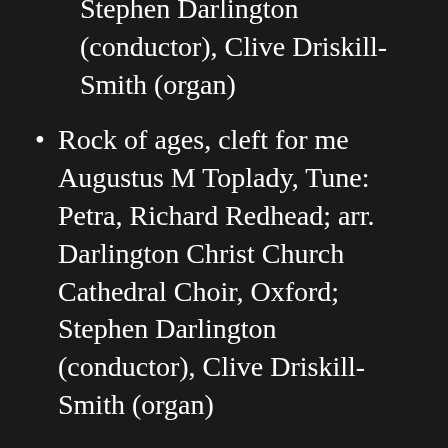Stephen Darlington (conductor), Clive Driskill-Smith (organ)
Rock of ages, cleft for me Augustus M Toplady, Tune: Petra, Richard Redhead; arr. Darlington Christ Church Cathedral Choir, Oxford; Stephen Darlington (conductor), Clive Driskill-Smith (organ)
Onward Christian Soldiers S Baring-Gould, Tune: St Gertrude, Arthur Sullivan Christ Church Cathedral Choir, Oxford; Stephen Darlington (conductor), Clive Driskill-Smith (organ)
When I survey the Wondrous Cross Isaac Watts, Tune: Rockingham, Edward Miller, arr. Goodall Christ Church